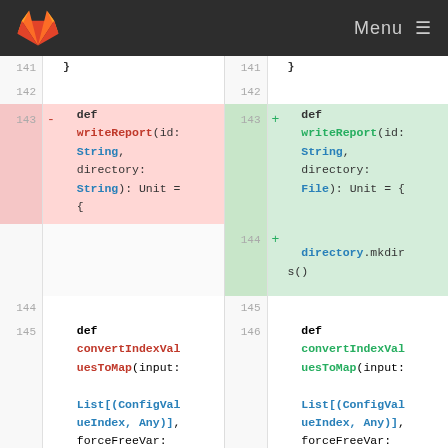GitLab Menu
[Figure (screenshot): Code diff view showing Scala source code comparison. Left side (old) shows lines 141-145 with writeReport method taking String directory parameter. Right side (new) shows lines 141-146 with writeReport method taking File directory parameter, and added line 144 with directory.mkdirs() call. Both sides show convertIndexValuesToMap method beginning.]